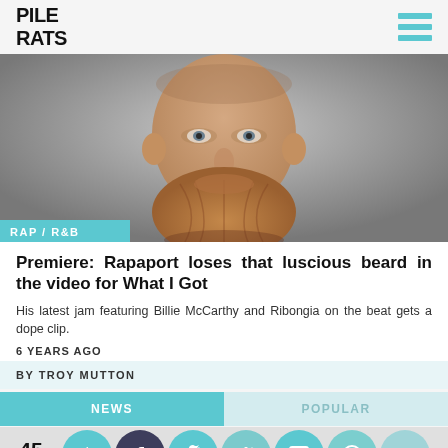PILE RATS
[Figure (photo): Close-up portrait of a bald man with a large reddish-brown beard against a grey background]
RAP / R&B
Premiere: Rapaport loses that luscious beard in the video for What I Got
His latest jam featuring Billie McCarthy and Ribongia on the beat gets a dope clip.
6 YEARS AGO
BY TROY MUTTON
NEWS
POPULAR